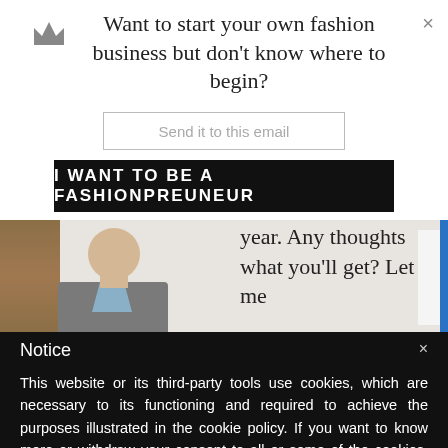Want to start your own fashion business but don't know where to begin?
Send it to this email
I WANT TO BE A FASHIONPREUNEUR
[Figure (photo): Photo of a man in a grey blazer and blue shirt]
year. Any thoughts what you'll get? Let me
Notice
This website or its third-party tools use cookies, which are necessary to its functioning and required to achieve the purposes illustrated in the cookie policy. If you want to know more or withdraw your consent to all or some of the cookies, please refer to the cookie policy.
By closing this banner, scrolling this page, clicking a link or continuing to browse otherwise, you agree to the use of cookies.